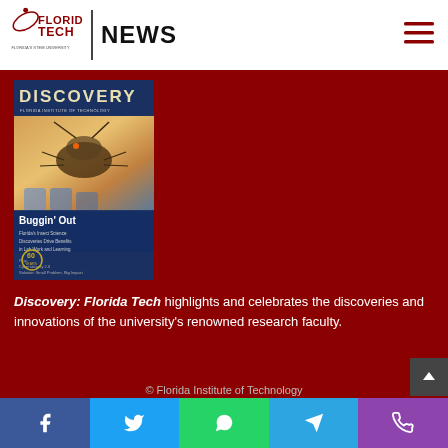Florida Tech News
[Figure (photo): Hero background photo showing a tree and a sculpture partially visible on the right side]
[Figure (photo): Discovery: Florida Tech magazine cover showing a close-up of a bug/insect on a surface with the headline 'Buggin' Out' and subtext about research discoveries]
Discovery: Florida Tech highlights and celebrates the discoveries and innovations of the university's renowned research faculty.
© Florida Institute of Technology